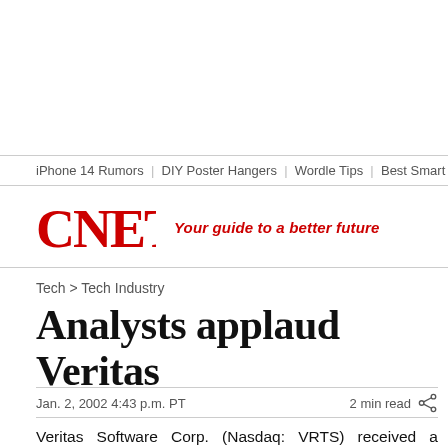iPhone 14 Rumors | DIY Poster Hangers | Wordle Tips | Best Smart Th
[Figure (logo): CNET logo in red bold serif font]
Your guide to a better future
Tech > Tech Industry
Analysts applaud Veritas
Jan. 2, 2002 4:43 p.m. PT
2 min read
Veritas Software Corp. (Nasdaq: VRTS) received a thumbs up from analysts Tuesday following the completion of the company's cash and stock deal that privatized Seagate Technology.